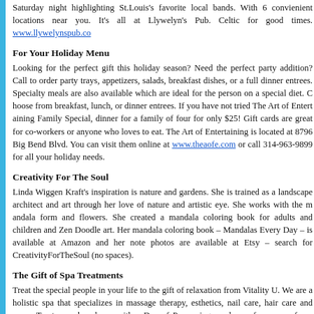Saturday night highlighting St.Louis's favorite local bands. With 6 convenient locations near you. It's all at Llywelyn's Pub. Celtic for good times. www.llywelynspub.com
For Your Holiday Menu
Looking for the perfect gift this holiday season? Need the perfect party addition? Call to order party trays, appetizers, salads, breakfast dishes, or a full dinner entrees. Specialty meals are also available which are ideal for the person on a special diet. Choose from breakfast, lunch, or dinner entrees. If you have not tried The Art of Entertaining Family Special, dinner for a family of four for only $25! Gift cards are great for co-workers or anyone who loves to eat. The Art of Entertaining is located at 8796 Big Bend Blvd. You can visit them online at www.theaofe.com or call 314-963-9899 for all your holiday needs.
Creativity For The Soul
Linda Wiggen Kraft's inspiration is nature and gardens. She is trained as a landscape architect and art through her love of nature and artistic eye. She works with the mandala form and flowers. She created a mandala coloring book for adults and children and Zen Doodle art. Her mandala coloring book – Mandalas Every Day – is available at Amazon and her note photos are available at Etsy – search for CreativityForTheSoul (no spaces).
The Gift of Spa Treatments
Treat the special people in your life to the gift of relaxation from Vitality Union. We are a holistic spa that specializes in massage therapy, esthetics, nail care, hair care and more. Treat your loved one with a Day of Pampering or choose from one of our many services. Purchase one of our decadent spa services or a dollar amount-allowing your gift re